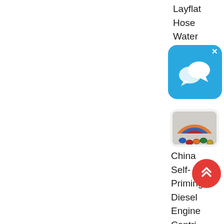Layfla' Hose Water Pump Hose Pipe For
[Figure (screenshot): Blue chat/messaging app icon with two overlapping speech bubble icons in white, on a blue rounded rectangle background, with an X close button in the top right corner]
[Figure (photo): Circular photo showing colorful rubber hoses/pipes bundled together in orange, blue, red and other colors]
China Self-Priming Diesel Engine Centri
[Figure (infographic): Red circular button with white double upward chevron arrow indicating scroll to top]